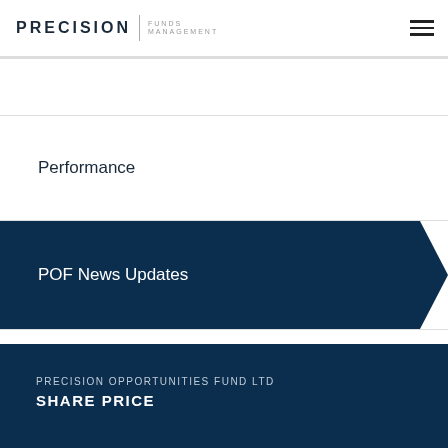PRECISION FUNDS MANAGEMENT
Performance
POF News Updates
Company Reports
PRECISION OPPORTUNITIES FUND LTD
SHARE PRICE